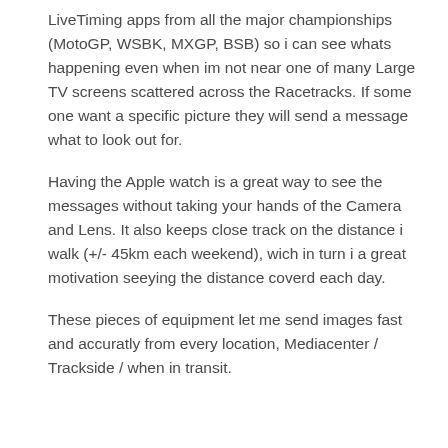LiveTiming apps from all the major championships (MotoGP, WSBK, MXGP, BSB) so i can see whats happening even when im not near one of many Large TV screens scattered across the Racetracks. If some one want a specific picture they will send a message what to look out for.
Having the Apple watch is a great way to see the messages without taking your hands of the Camera and Lens. It also keeps close track on the distance i walk (+/- 45km each weekend), wich in turn i a great motivation seeying the distance coverd each day.
These pieces of equipment let me send images fast and accuratly from every location, Mediacenter / Trackside / when in transit.